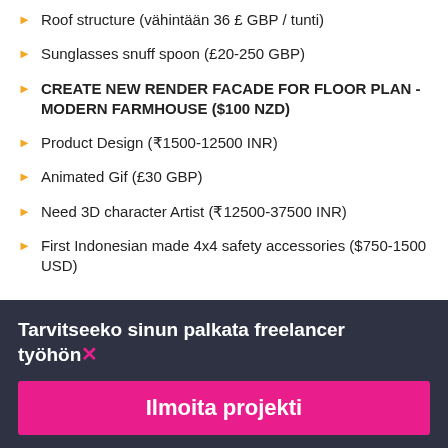Roof structure (vähintään 36 £ GBP / tunti)
Sunglasses snuff spoon (£20-250 GBP)
CREATE NEW RENDER FACADE FOR FLOOR PLAN - MODERN FARMHOUSE ($100 NZD)
Product Design (₹1500-12500 INR)
Animated Gif (£30 GBP)
Need 3D character Artist (₹12500-37500 INR)
First Indonesian made 4x4 safety accessories ($750-1500 USD)
Tarvitseeko sinun palkata freelancer työhön×
Ilmoita projekti